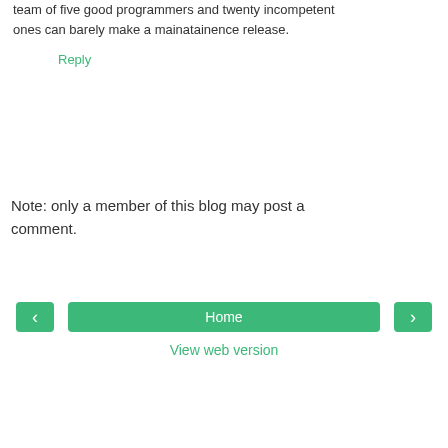team of five good programmers and twenty incompetent ones can barely make a mainatainence release.
Reply
Note: only a member of this blog may post a comment.
‹
Home
›
View web version